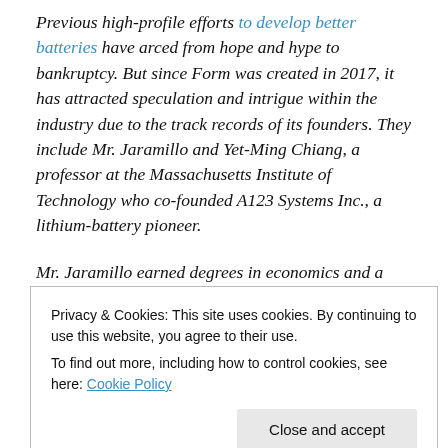Previous high-profile efforts to develop better batteries have arced from hope and hype to bankruptcy. But since Form was created in 2017, it has attracted speculation and intrigue within the industry due to the track records of its founders. They include Mr. Jaramillo and Yet-Ming Chiang, a professor at the Massachusetts Institute of Technology who co-founded A123 Systems Inc., a lithium-battery pioneer.
Mr. Jaramillo earned degrees in economics and a master's degree from the Yale Divinity School before switching to a
Privacy & Cookies: This site uses cookies. By continuing to use this website, you agree to their use. To find out more, including how to control cookies, see here: Cookie Policy
new company when Mr. Chiang called him